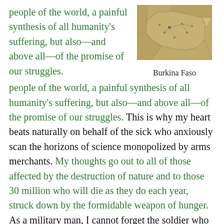people of the world, a painful synthesis of all humanity's suffering, but also—and above all—of the promise of our struggles. This is why my heart beats naturally on behalf of the sick who anxiously scan the horizons of science monopolized by arms merchants. My thoughts go out to all of those affected by the destruction of nature and to those 30 million who will die as they do each year, struck down by the formidable weapon of hunger. As a military man, I cannot forget the soldier who is obeying orders, his finger on the trigger, who knows the bullet being fired bears only the message of death. …. I protest on behalf of all those who vainly seek a forum in this world where
[Figure (map): Map of Burkina Faso showing regions and cities]
Burkina Faso